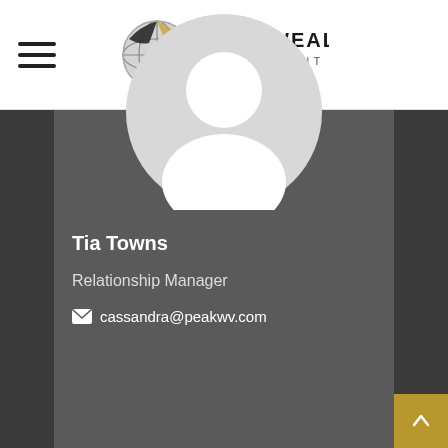[Figure (logo): Peak Wealth Management logo with globe icon and company name]
[Figure (photo): Default profile photo placeholder (silhouette of a person on grey circle)]
Tia Towns
Relationship Manager
cassandra@peakwv.com